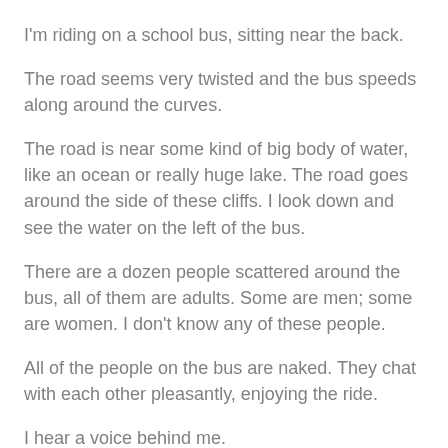I'm riding on a school bus, sitting near the back.
The road seems very twisted and the bus speeds along around the curves.
The road is near some kind of big body of water, like an ocean or really huge lake. The road goes around the side of these cliffs. I look down and see the water on the left of the bus.
There are a dozen people scattered around the bus, all of them are adults. Some are men; some are women. I don't know any of these people.
All of the people on the bus are naked. They chat with each other pleasantly, enjoying the ride.
I hear a voice behind me.
"Are you going to the party?" a man asks.